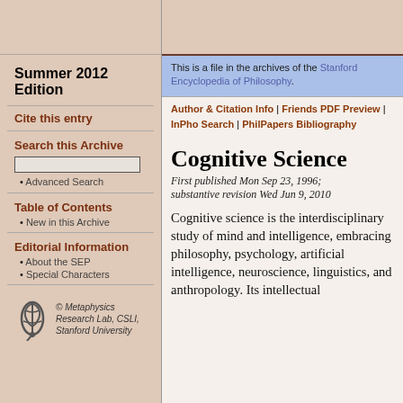Summer 2012 Edition
Cite this entry
Search this Archive
• Advanced Search
Table of Contents
• New in this Archive
Editorial Information
• About the SEP
• Special Characters
© Metaphysics Research Lab, CSLI, Stanford University
This is a file in the archives of the Stanford Encyclopedia of Philosophy.
Author & Citation Info | Friends PDF Preview | InPho Search | PhilPapers Bibliography
Cognitive Science
First published Mon Sep 23, 1996; substantive revision Wed Jun 9, 2010
Cognitive science is the interdisciplinary study of mind and intelligence, embracing philosophy, psychology, artificial intelligence, neuroscience, linguistics, and anthropology. Its intellectual